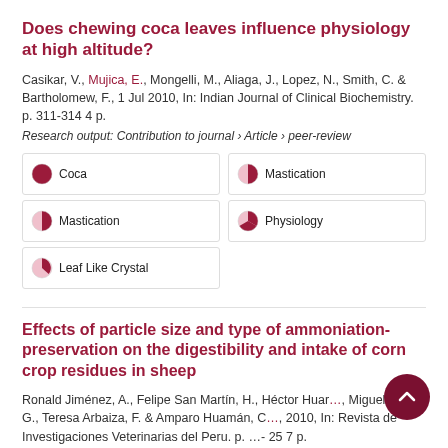Does chewing coca leaves influence physiology at high altitude?
Casikar, V., Mujica, E., Mongelli, M., Aliaga, J., Lopez, N., Smith, C. & Bartholomew, F., 1 Jul 2010, In: Indian Journal of Clinical Biochemistry. p. 311-314 4 p.
Research output: Contribution to journal › Article › peer-review
Coca
Mastication
Mastication
Physiology
Leaf Like Crystal
Effects of particle size and type of ammoniation-preservation on the digestibility and intake of corn crop residues in sheep
Ronald Jiménez, A., Felipe San Martín, H., Héctor Huam…, Miguel Ara, G., Teresa Arbaiza, F. & Amparo Huamán, C…, 2010, In: Revista de Investigaciones Veterinarias del Peru. p. …-25 7 p.